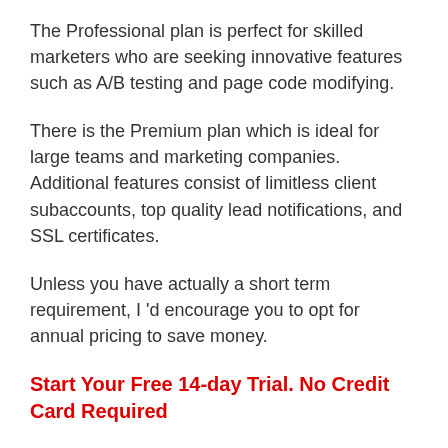The Professional plan is perfect for skilled marketers who are seeking innovative features such as A/B testing and page code modifying.
There is the Premium plan which is ideal for large teams and marketing companies. Additional features consist of limitless client subaccounts, top quality lead notifications, and SSL certificates.
Unless you have actually a short term requirement, I 'd encourage you to opt for annual pricing to save money.
Start Your Free 14-day Trial. No Credit Card Required